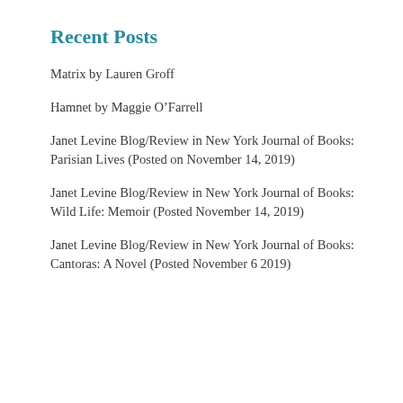Recent Posts
Matrix by Lauren Groff
Hamnet by Maggie O’Farrell
Janet Levine Blog/Review in New York Journal of Books: Parisian Lives (Posted on November 14, 2019)
Janet Levine Blog/Review in New York Journal of Books: Wild Life: Memoir (Posted November 14, 2019)
Janet Levine Blog/Review in New York Journal of Books: Cantoras: A Novel (Posted November 6 2019)